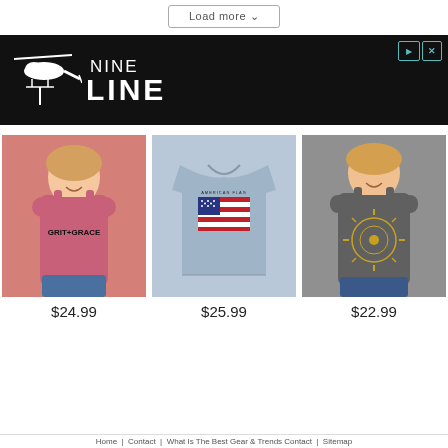Load more
[Figure (photo): Nine Line Apparel advertisement banner with helicopter logo on black background]
[Figure (photo): Woman wearing pink tank top with 'Grit + Grace' text, product for $24.99]
[Figure (photo): Back of light blue t-shirt with American flag design, product for $25.99]
[Figure (photo): Woman wearing grey tank top with gold sun/compass design, product for $22.99]
$24.99
$25.99
$22.99